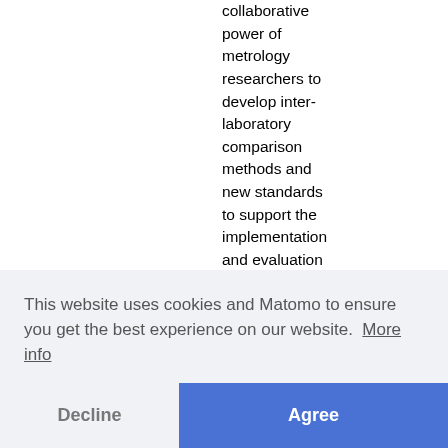collaborative power of metrology researchers to develop inter-laboratory comparison methods and new standards to support the implementation and evaluation of COVID-19 testing techniques.
Med have l nter- . the V-2 nd for validating
This website uses cookies and Matomo to ensure you get the best experience on our website. More info
Decline
Agree